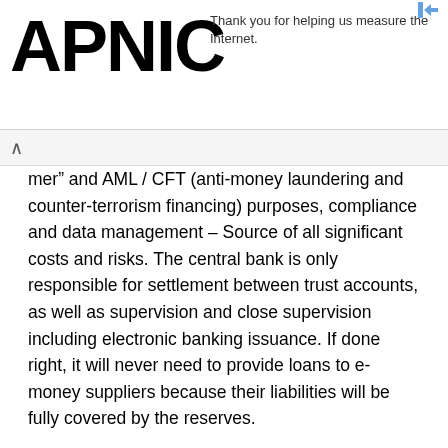APNIC
Thank you for helping us measure the Internet.
mer” and AML / CFT (anti-money laundering and counter-terrorism financing) purposes, compliance and data management – Source of all significant costs and risks. The central bank is only responsible for settlement between trust accounts, as well as supervision and close supervision including electronic banking issuance. If done right, it will never need to provide loans to e-money suppliers because their liabilities will be fully covered by the reserves.
Synthetic CBDC is essentially a public-private partnership that encourages competition among e-money suppliers and retains comparative advantage. The private sector focuses on innovation, interface design and customer management. The public sector is still focused on